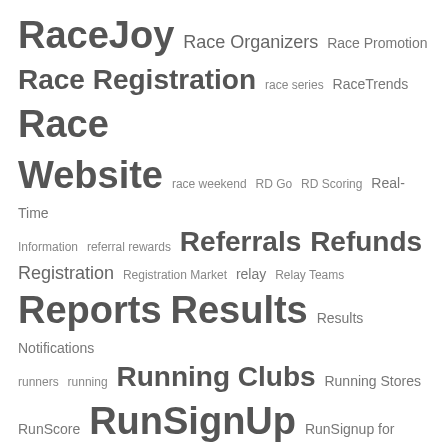[Figure (infographic): Tag cloud containing terms related to race registration and running events, with varying font sizes indicating frequency/importance. Terms include RaceJoy, Race Organizers, Race Promotion, Race Registration, race series, RaceTrends, Race Website, race weekend, RD Go, RD Scoring, Real-Time Information, referral rewards, Referrals, Refunds, Registration, Registration Market, relay, Relay Teams, Reports, Results, Results Notifications, runners, running, Running Clubs, Running Stores, RunScore, RunSignUp, RunSignup for Nonprofits, RunSignUp Go, RunSignup Symposium, RunSignup virtual symposium, sales tax, Scaling, Scoring, Security, send-a-cheer, Series, Shipping, Social Media, Spectator, Spectators, Sponsor]